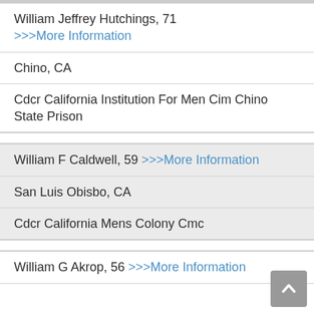William Jeffrey Hutchings, 71 >>>More Information
Chino, CA
Cdcr California Institution For Men Cim Chino State Prison
William F Caldwell, 59 >>>More Information
San Luis Obisbo, CA
Cdcr California Mens Colony Cmc
William G Akrop, 56 >>>More Information